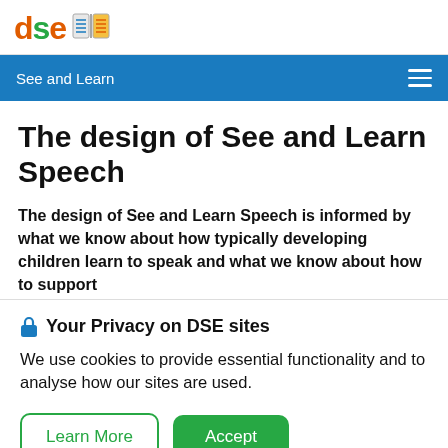dse [logo icon] — See and Learn (navigation bar)
The design of See and Learn Speech
The design of See and Learn Speech is informed by what we know about how typically developing children learn to speak and what we know about how to support…
🔒 Your Privacy on DSE sites
We use cookies to provide essential functionality and to analyse how our sites are used.
Learn More | Accept